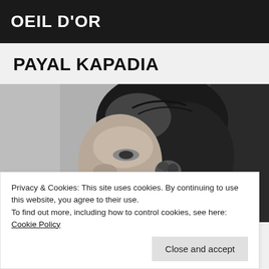OEIL D'OR
PAYAL KAPADIA
[Figure (photo): Black and white portrait photograph of a woman with dark hair and a flower accessory near her ear, photographed from the side/profile.]
Privacy & Cookies: This site uses cookies. By continuing to use this website, you agree to their use.
To find out more, including how to control cookies, see here: Cookie Policy
Close and accept